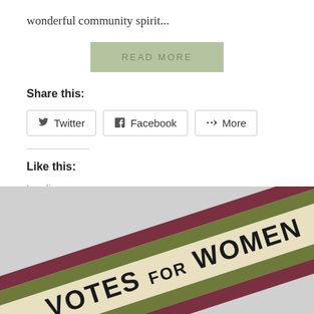wonderful community spirit...
READ MORE
Share this:
Twitter
Facebook
More
Like this:
Loading...
[Figure (photo): A diagonal sash/ribbon with stripes in dark red, olive green, and cream colors, with bold black text reading 'VOTES FOR WOMEN']